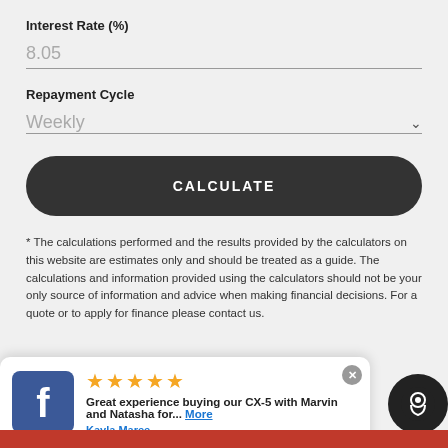Interest Rate (%)
8.05
Repayment Cycle
Weekly
CALCULATE
* The calculations performed and the results provided by the calculators on this website are estimates only and should be treated as a guide. The calculations and information provided using the calculators should not be your only source of information and advice when making financial decisions. For a quote or to apply for finance please contact us.
Great experience buying our CX-5 with Marvin and Natasha for... More
Kayla Maree